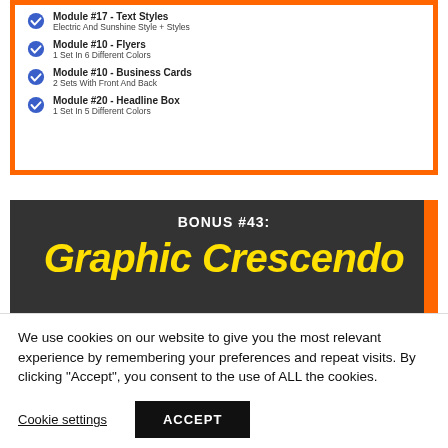Module #17 - Text Styles
Electric And Sunshine Style + Styles
Module #10 - Flyers
1 Set In 6 Different Colors
Module #10 - Business Cards
2 Sets With Front And Back
Module #20 - Headline Box
1 Set In 5 Different Colors
BONUS #43:
Graphic Crescendo
We use cookies on our website to give you the most relevant experience by remembering your preferences and repeat visits. By clicking “Accept”, you consent to the use of ALL the cookies.
Cookie settings  ACCEPT